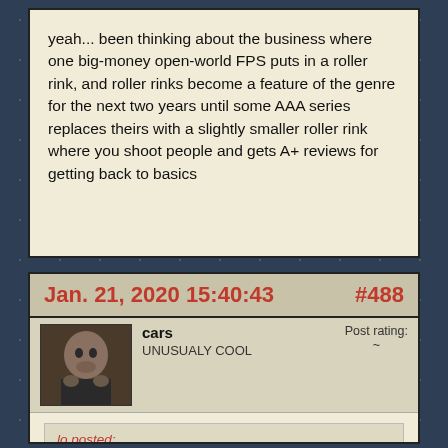yeah... been thinking about the business where one big-money open-world FPS puts in a roller rink, and roller rinks become a feature of the genre for the next two years until some AAA series replaces theirs with a slightly smaller roller rink where you shoot people and gets A+ reviews for getting back to basics
Jan. 21, 2020 15:40:43   #488
cars
UNUSUALY COOL
Post rating: ~
lo posted:
it just sounds like it's not a game made for you. like i don't really enjoy bullet hell shump games but im not going to say that devs that make them should put in a difficulty where there aren't